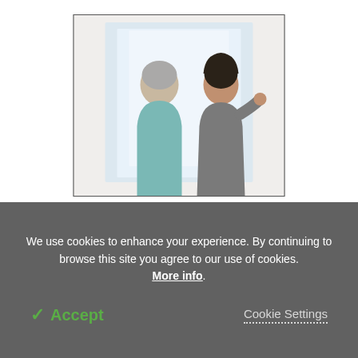[Figure (photo): Two people seen from behind looking out a bright window. One person with gray hair (elderly) wearing a teal top, and another person with dark hair gesturing toward the window.]
Research shows non-invasive novel biomarkers can predict Alzheimer's risk
[Figure (photo): An open-plan office or conference room with rows of cubicle workstations, teal/blue cushioned chairs, and a person standing in the background near large windows overlooking the outside.]
We use cookies to enhance your experience. By continuing to browse this site you agree to our use of cookies. More info.
✓ Accept
Cookie Settings